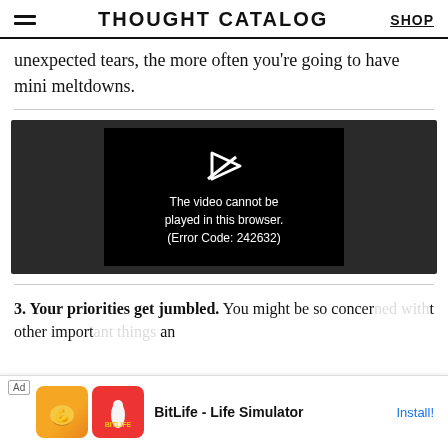THOUGHT CATALOG | SHOP
unexpected tears, the more often you're going to have mini meltdowns.
[Figure (screenshot): Video player showing error message: 'The video cannot be played in this browser. (Error Code: 242632)']
3. Your priorities get jumbled. You might be so concerned with other important an
[Figure (screenshot): Ad banner for BitLife - Life Simulator app with Install button]